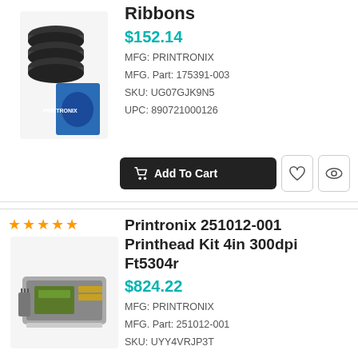Ribbons
$152.14
MFG: PRINTRONIX
MFG. Part: 175391-003
SKU: UG07GJK9N5
UPC: 890721000126
[Figure (photo): Photo of Printronix ribbon spools stacked with a branded box]
Add To Cart
★★★★★
Printronix 251012-001 Printhead Kit 4in 300dpi Ft5304r
$824.22
MFG: PRINTRONIX
MFG. Part: 251012-001
SKU: UYY4VRJP3T
[Figure (photo): Photo of a Printronix printhead kit circuit board]
Add To Cart
Message